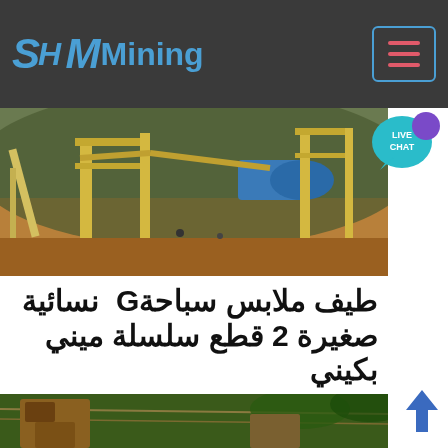SH MMining
[Figure (photo): Aerial view of a mining facility with yellow conveyor belts, industrial equipment, and a blue cylindrical drum/rotary kiln on orange-brown dirt ground]
[Figure (illustration): Live Chat speech bubble icon in teal/cyan color with white text LIVE CHAT]
طيف ملابس سباحة‎ G نسائية صغيرة 2 قطع سلسلة ميني بكيني
للغاية مثير ملابس سباحة نسائية صغيرة 2 قطع سلسلة ثوني ملابس G صغيرة الاستحمام دعوى
الدردشة الآن
[Figure (photo): Mining equipment and machinery in a forested/jungle setting with green vegetation and wooden structures]
[Figure (illustration): Blue upward-pointing arrow/cursor icon for scroll to top]